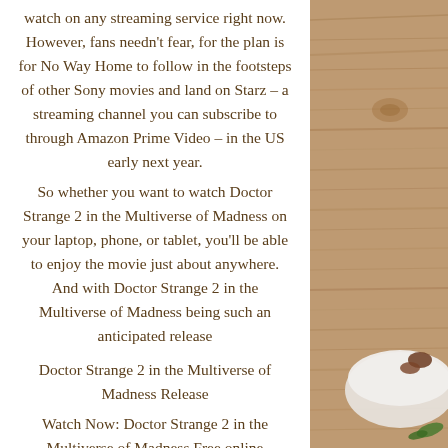watch on any streaming service right now. However, fans needn't fear, for the plan is for No Way Home to follow in the footsteps of other Sony movies and land on Starz – a streaming channel you can subscribe to through Amazon Prime Video – in the US early next year.
So whether you want to watch Doctor Strange 2 in the Multiverse of Madness on your laptop, phone, or tablet, you'll be able to enjoy the movie just about anywhere. And with Doctor Strange 2 in the Multiverse of Madness being such an anticipated release
Doctor Strange 2 in the Multiverse of Madness Release
Watch Now: Doctor Strange 2 in the Multiverse of Madness Free online streaming
[Figure (photo): A wooden table surface with a white bowl and some food items visible at the right edge of the page.]